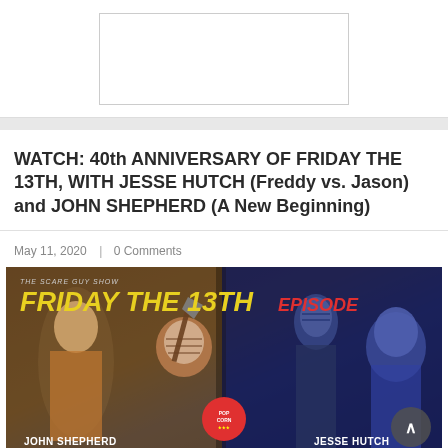[Figure (other): Advertisement placeholder box with white background and border]
WATCH: 40th ANNIVERSARY OF FRIDAY THE 13TH, WITH JESSE HUTCH (Freddy vs. Jason) and JOHN SHEPHERD (A New Beginning)
May 11, 2020  |  0 Comments
[Figure (photo): The Scare Guy Show Friday The 13th Episode promotional image featuring John Shepherd and Jesse Hutch with Jason Voorhees imagery]